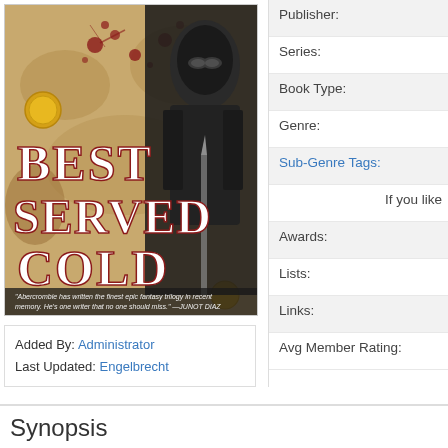[Figure (illustration): Book cover for 'Best Served Cold' showing a dark armored figure against a blood-splattered map background with gold coins. Title text 'BEST SERVED COLD' in large white/red letters. Quote at bottom: 'Abercrombie has written the finest epic fantasy trilogy in recent memory. He's one writer that no one should miss.' —JUNOT DIAZ]
Added By: Administrator
Last Updated: Engelbrecht
Publisher:
Series:
Book Type:
Genre:
Sub-Genre Tags:
If you like
Awards:
Lists:
Links:
Avg Member Rating:
Synopsis